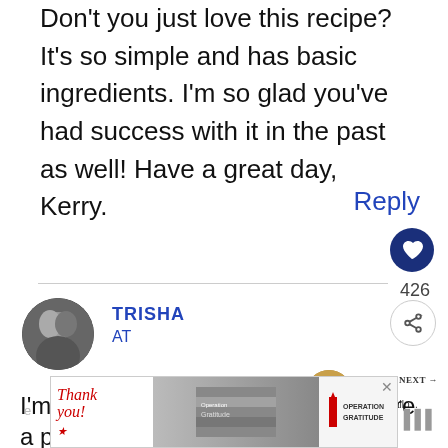Don't you just love this recipe? It's so simple and has basic ingredients. I'm so glad you've had success with it in the past as well! Have a great day, Kerry.
Reply
426
TRISHA
AT
WHAT'S NEXT → DIY Marshmallo...
I'm excited to try this on a shirt where a pen
[Figure (screenshot): Advertisement banner showing 'Thank you!' text with an American flag pencil graphic and Operation Gratitude logo with military imagery]